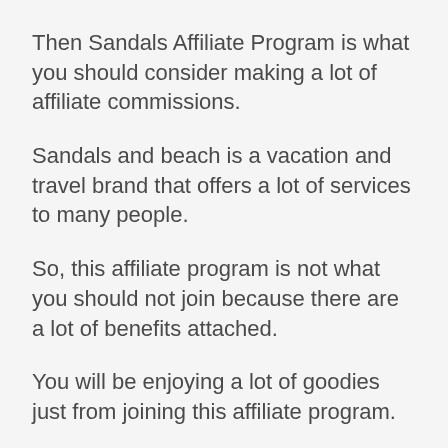Then Sandals Affiliate Program is what you should consider making a lot of affiliate commissions.
Sandals and beach is a vacation and travel brand that offers a lot of services to many people.
So, this affiliate program is not what you should not join because there are a lot of benefits attached.
You will be enjoying a lot of goodies just from joining this affiliate program.